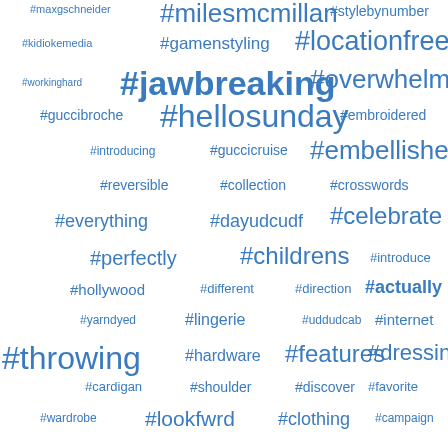[Figure (infographic): Word cloud / tag cloud of hashtags in various font sizes, all in blue, on white background. Tags include #milesmcmillan, #stylebynumber, #maxgschneider, #kidiokemedia, #gamenstyling, #locationfree, #workinghard, #jawbreaking, #overwhelmed, #guccibroche, #hellosunday, #embroidered, #introducing, #guccicruise, #embellished, #reversible, #collection, #crosswords, #everything, #dayudcudf, #celebrate, #perfectly, #childrens, #introduce, #hollywood, #different, #direction, #actually, #yarndyed, #lingerie, #uddudcab, #internet, #throwing, #hardware, #features, #dressing, #cardigan, #shoulder, #discover, #favorite, #wardrobe, #lookfwrd, #clothing, #campaign, #response, #starring, #printed, #decided, #trouser, #believe, #nightly, #dancing, #nuggets, #current, #youtube, #showing, #through, #private, #gucciss, #crafted, #tonight, #florals, #flowers, #joining]